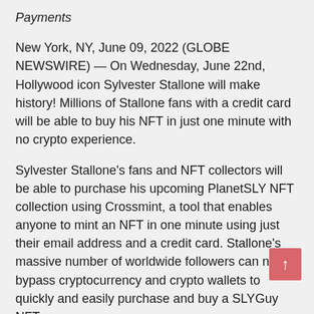Payments
New York, NY, June 09, 2022 (GLOBE NEWSWIRE) — On Wednesday, June 22nd, Hollywood icon Sylvester Stallone will make history! Millions of Stallone fans with a credit card will be able to buy his NFT in just one minute with no crypto experience.
Sylvester Stallone's fans and NFT collectors will be able to purchase his upcoming PlanetSLY NFT collection using Crossmint, a tool that enables anyone to mint an NFT in one minute using just their email address and a credit card. Stallone's massive number of worldwide followers can now bypass cryptocurrency and crypto wallets to quickly and easily purchase and buy a SLYGuy NFT